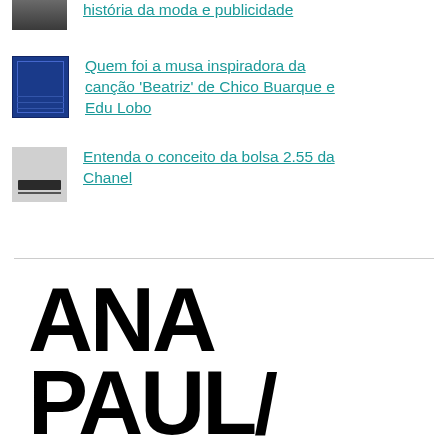história da moda e publicidade
Quem foi a musa inspiradora da canção 'Beatriz' de Chico Buarque e Edu Lobo
Entenda o conceito da bolsa 2.55 da Chanel
[Figure (logo): Partial logo text showing 'ANA' on first line and 'PAUL' (partially cut off) on second line in large bold black sans-serif font on white background]